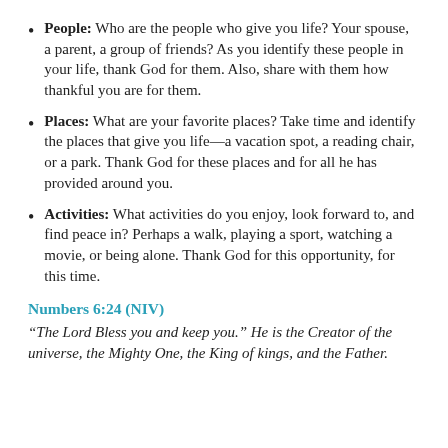People: Who are the people who give you life? Your spouse, a parent, a group of friends? As you identify these people in your life, thank God for them. Also, share with them how thankful you are for them.
Places: What are your favorite places? Take time and identify the places that give you life—a vacation spot, a reading chair, or a park. Thank God for these places and for all he has provided around you.
Activities: What activities do you enjoy, look forward to, and find peace in? Perhaps a walk, playing a sport, watching a movie, or being alone. Thank God for this opportunity, for this time.
Numbers 6:24 (NIV)
“The Lord Bless you and keep you.” He is the Creator of the universe, the Mighty One, the King of kings, and the Father.